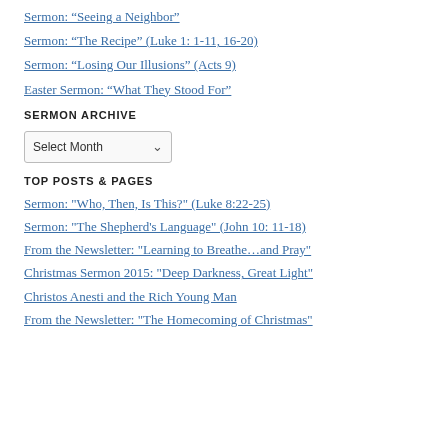Sermon: “Seeing a Neighbor”
Sermon: “The Recipe” (Luke 1: 1-11, 16-20)
Sermon: “Losing Our Illusions” (Acts 9)
Easter Sermon: “What They Stood For”
SERMON ARCHIVE
[Figure (screenshot): A dropdown/select widget labeled 'Select Month' with a chevron arrow on the right side.]
TOP POSTS & PAGES
Sermon: "Who, Then, Is This?" (Luke 8:22-25)
Sermon: "The Shepherd's Language" (John 10: 11-18)
From the Newsletter: "Learning to Breathe…and Pray"
Christmas Sermon 2015: "Deep Darkness, Great Light"
Christos Anesti and the Rich Young Man
From the Newsletter: "The Homecoming of Christmas"